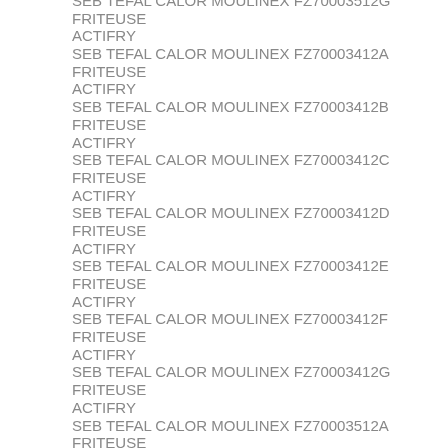SEB TEFAL CALOR MOULINEX FZ70003512G FRITEUSE ACTIFRY
SEB TEFAL CALOR MOULINEX FZ70003412A FRITEUSE ACTIFRY
SEB TEFAL CALOR MOULINEX FZ70003412B FRITEUSE ACTIFRY
SEB TEFAL CALOR MOULINEX FZ70003412C FRITEUSE ACTIFRY
SEB TEFAL CALOR MOULINEX FZ70003412D FRITEUSE ACTIFRY
SEB TEFAL CALOR MOULINEX FZ70003412E FRITEUSE ACTIFRY
SEB TEFAL CALOR MOULINEX FZ70003412F FRITEUSE ACTIFRY
SEB TEFAL CALOR MOULINEX FZ70003412G FRITEUSE ACTIFRY
SEB TEFAL CALOR MOULINEX FZ70003512A FRITEUSE ACTIFRY
SEB TEFAL CALOR MOULINEX FZ70003512B FRITEUSE ACTIFRY
SEB TEFAL CALOR MOULINEX FZ70003512C FRITEUSE ACTIFRY
SEB TEFAL CALOR MOULINEX FZ70003512D FRITEUSE ACTIFRY
SEB TEFAL CALOR MOULINEX FZ70003512E FRITEUSE ACTIFRY